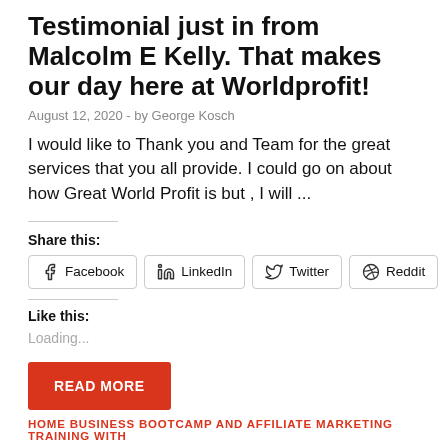Testimonial just in from Malcolm E Kelly. That makes our day here at Worldprofit!
August 12, 2020  -  by George Kosch
I would like to Thank you and Team for the great services that you all provide. I could go on about how Great World Profit is but , I will ...
Share this:
[Figure (other): Social share buttons for Facebook, LinkedIn, Twitter, Reddit]
Like this:
Loading...
READ MORE
HOME BUSINESS BOOTCAMP AND AFFILIATE MARKETING TRAINING WITH